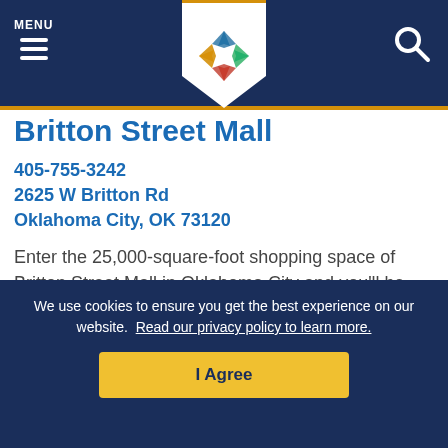MENU | [Logo] | [Search]
Britton Street Mall
405-755-3242
2625 W Britton Rd
Oklahoma City, OK 73120
Enter the 25,000-square-foot shopping space of Britton Street Mall in Oklahoma City and you'll be presented with hours...
MEHR LESEN >
We use cookies to ensure you get the best experience on our website. Read our privacy policy to learn more.
I Agree